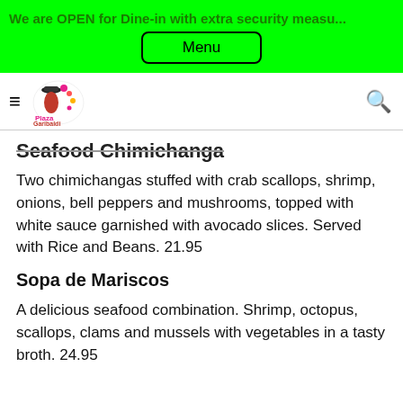We are OPEN for Dine-in with extra security measu...
Menu
[Figure (logo): Plaza Garibaldi restaurant logo with hamburger menu icon and search icon]
Seafood Chimichanga
Two chimichangas stuffed with crab scallops, shrimp, onions, bell peppers and mushrooms, topped with white sauce garnished with avocado slices. Served with Rice and Beans. 21.95
Sopa de Mariscos
A delicious seafood combination. Shrimp, octopus, scallops, clams and mussels with vegetables in a tasty broth. 24.95